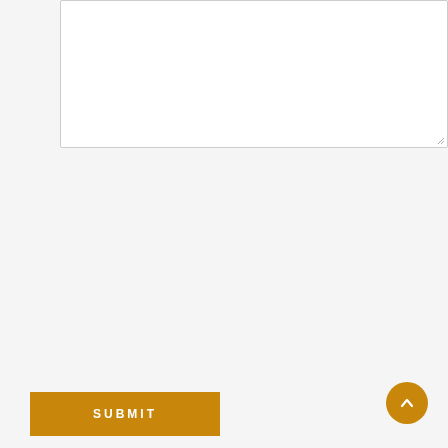[Figure (screenshot): Empty white textarea input box with rounded corners and resize handle at bottom right]
[Figure (screenshot): Golden/amber colored SUBMIT button with white uppercase letter-spaced text]
[Figure (screenshot): White card/panel area with light border and shadow]
[Figure (screenshot): Circular golden scroll-to-top button with upward chevron arrow]